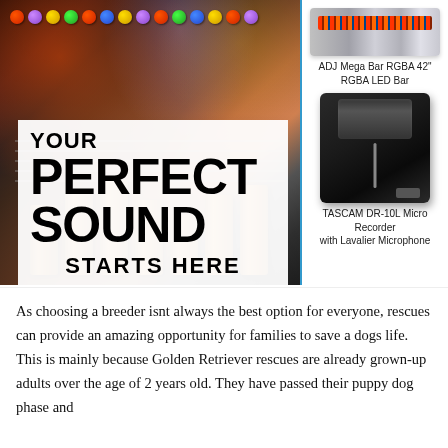[Figure (photo): Audio mixing board/console with faders, knobs, and colorful buttons in a studio setting, with text overlay reading YOUR PERFECT SOUND STARTS HERE]
[Figure (photo): ADJ Mega Bar RGBA 42 inch RGBA LED Bar - a long horizontal LED light bar]
ADJ Mega Bar RGBA 42"
RGBA LED Bar
[Figure (photo): TASCAM DR-10L Micro Recorder with Lavalier Microphone - small black recording device with attached cable and lapel mic]
TASCAM DR-10L Micro Recorder
with Lavalier Microphone
As choosing a breeder isnt always the best option for everyone, rescues can provide an amazing opportunity for families to save a dogs life. This is mainly because Golden Retriever rescues are already grown-up adults over the age of 2 years old. They have passed their puppy dog phase and